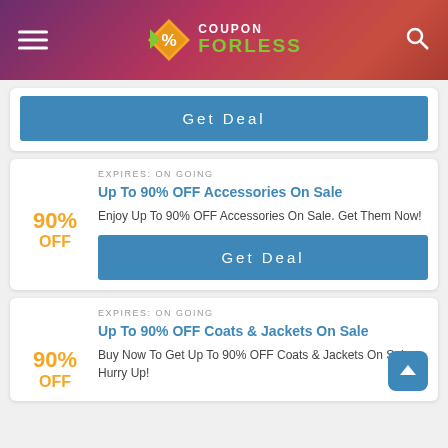COUPON FORLESS
[Figure (screenshot): Get Deal button (partial card, top)]
EXPIRES: ON GOING
Up To 90% OFF Accessories On Sale
Enjoy Up To 90% OFF Accessories On Sale. Get Them Now!
[Figure (screenshot): Get Deal button for Accessories On Sale]
EXPIRES: ON GOING
Up To 90% OFF Coats & Jackets On Sale
Buy Now To Get Up To 90% OFF Coats & Jackets On Sale. Hurry Up!